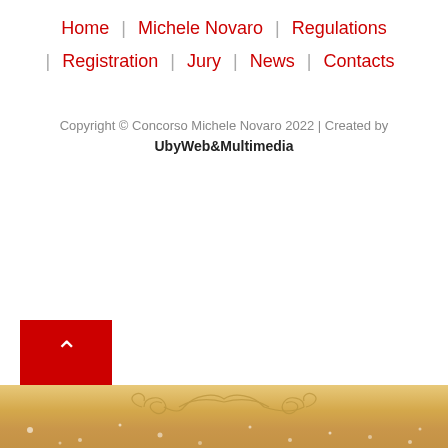Home | Michele Novaro | Regulations | Registration | Jury | News | Contacts
Copyright © Concorso Michele Novaro 2022 | Created by UbyWeb&Multimedia
[Figure (other): Red scroll-to-top button with upward chevron arrow]
[Figure (other): Parchment/sandy textured background with decorative scroll ornament and white bokeh dots]